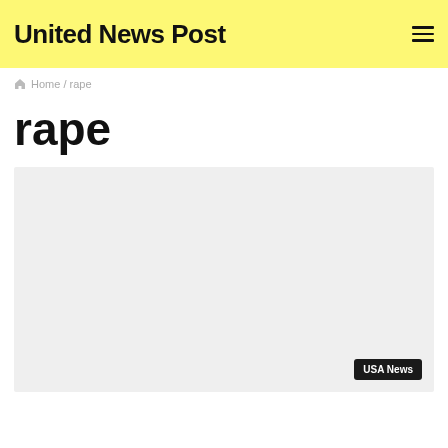United News Post
Home / rape
rape
[Figure (other): Gray advertisement placeholder box with 'USA News' badge in the bottom-right corner]